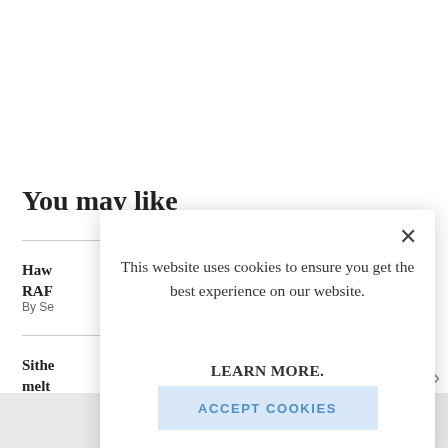You may like
Haw RAF
By Se
Sithe melt reve
[Figure (screenshot): Cookie consent modal dialog with close button (×), text 'This website uses cookies to ensure you get the best experience on our website.', bold link 'LEARN MORE.', and a light blue 'ACCEPT COOKIES' button.]